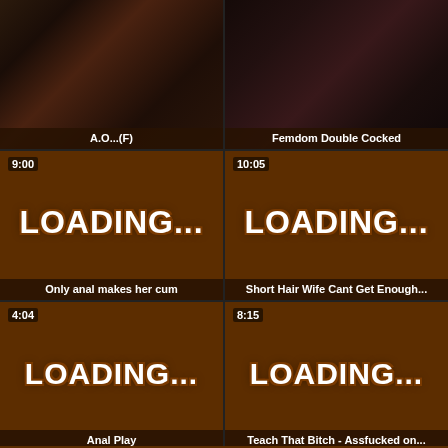[Figure (screenshot): Video thumbnail - adult content, woman in black lingerie, title A.O...(F)]
[Figure (screenshot): Video thumbnail - adult content, woman in corset with stockings, title Femdom Double Cocked]
[Figure (screenshot): Loading placeholder 9:00, title Only anal makes her cum]
[Figure (screenshot): Loading placeholder 10:05, title Short Hair Wife Cant Get Enough...]
[Figure (screenshot): Loading placeholder 4:04, title Anal Play]
[Figure (screenshot): Loading placeholder 8:15, title Teach That Bitch - Assfucked on...]
[Figure (screenshot): Loading placeholder 10:00, partial view at bottom]
[Figure (screenshot): Loading placeholder 34:04, partial view at bottom]